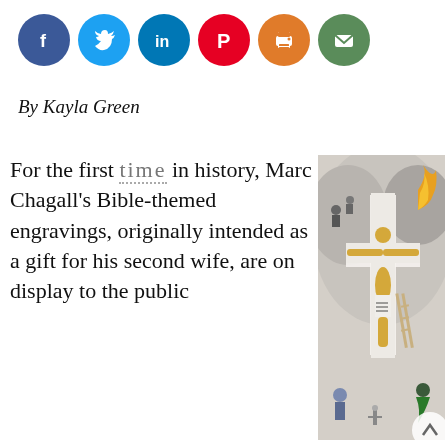[Figure (other): Row of social media sharing icons: Facebook (blue), Twitter (light blue), LinkedIn (dark blue), Pinterest (red), Print (orange), Email (green)]
By Kayla Green
For the first time in history, Marc Chagall's Bible-themed engravings, originally intended as a gift for his second wife, are on display to the public
[Figure (illustration): Marc Chagall painting depicting a crucifixion scene with Jesus on a white cross, surrounded by chaotic figures, fire, and a menorah at the bottom, typical of Chagall's Bible-themed expressionist style.]